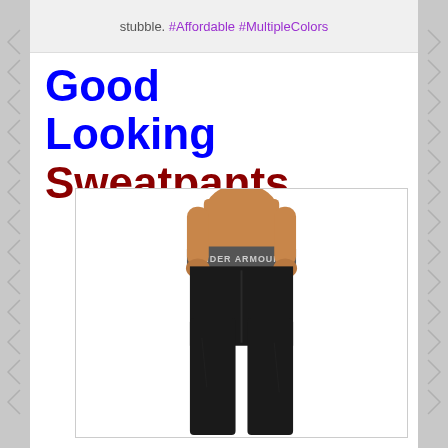stubble. #Affordable #MultipleColors
Good Looking Sweatpants
[Figure (photo): Man wearing black Under Armour sweatpants, viewed from behind, showing the waistband with 'UNDER ARMOUR' text and black pants legs]